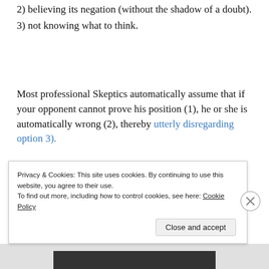2) believing its negation (without the shadow of a doubt).
3) not knowing what to think.
Most professional Skeptics automatically assume that if your opponent cannot prove his position (1), he or she is automatically wrong (2), thereby utterly disregarding option 3).
Privacy & Cookies: This site uses cookies. By continuing to use this website, you agree to their use.
To find out more, including how to control cookies, see here: Cookie Policy